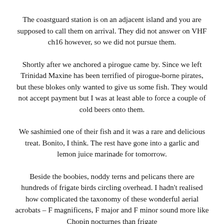The coastguard station is on an adjacent island and you are supposed to call them on arrival. They did not answer on VHF ch16 however, so we did not pursue them.
Shortly after we anchored a pirogue came by. Since we left Trinidad Maxine has been terrified of pirogue-borne pirates, but these blokes only wanted to give us some fish. They would not accept payment but I was at least able to force a couple of cold beers onto them.
We sashimied one of their fish and it was a rare and delicious treat. Bonito, I think. The rest have gone into a garlic and lemon juice marinade for tomorrow.
Beside the boobies, noddy terns and pelicans there are hundreds of frigate birds circling overhead. I hadn't realised how complicated the taxonomy of these wonderful aerial acrobats – F magnificens, F major and F minor sound more like Chopin nocturnes than frigate